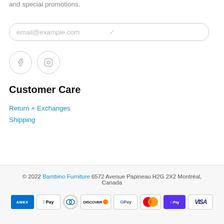Sign up for our newsletter and be the first to know about coupons and special promotions.
[Figure (screenshot): Email input field with placeholder text 'email@example.com' and a checkmark icon, inside a rounded rectangle border]
[Figure (infographic): Two circular social media icon buttons: Facebook (f) and Instagram (camera icon), with light grey borders]
Customer Care
Return + Exchanges
Shipping
© 2022 Bambino Furniture 6572 Avenue Papineau H2G 2X2 Montréal, Canada
[Figure (infographic): Payment method icons: AMEX, Apple Pay, Diners Club, Discover, Google Pay, Mastercard, Shopify Pay, Visa]